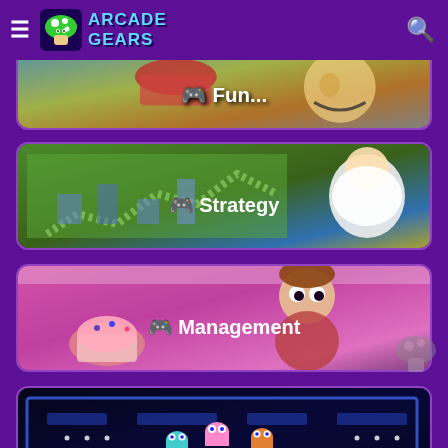ARCADE GEARS
[Figure (screenshot): Funny category banner with cartoon characters]
[Figure (screenshot): Strategy category banner with strategy game and cartoon character]
[Figure (screenshot): Management category banner with cupcake and cartoon boy]
[Figure (screenshot): Classic category banner with Pac-Man maze]
[Figure (screenshot): Partially visible bottom banner]